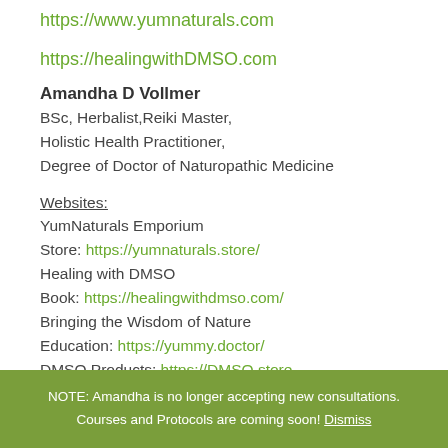https://www.yumnaturals.com
https://healingwithDMSO.com
Amandha D Vollmer
BSc, Herbalist,Reiki Master,
Holistic Health Practitioner,
Degree of Doctor of Naturopathic Medicine
Websites:
YumNaturals Emporium
Store: https://yumnaturals.store/
Healing with DMSO
Book: https://healingwithdmso.com/
Bringing the Wisdom of Nature
Education: https://yummy.doctor/
DMSO Products: https://DMSO.store
NOTE: Amandha is no longer accepting new consultations. Courses and Protocols are coming soon! Dismiss